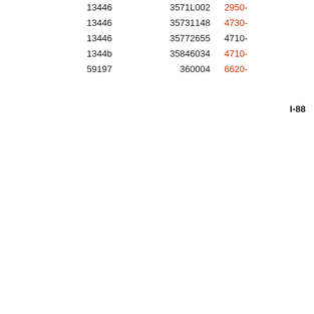| 13446 | 3571L002 | 2950- |
| 13446 | 35731148 | 4730- |
| 13446 | 35772655 | 4710- |
| 1344b | 35846034 | 4710- |
| 59197 | 360004 | 6620- |
I-88
[Figure (illustration): Social media sharing icons: Google+, Facebook, LinkedIn, Twitter, a people/share icon, and StumbleUpon, displayed as square dark buttons stacked vertically on the left side of the page.]